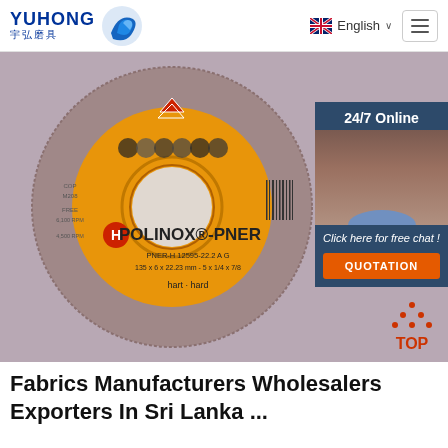YUHONG 宇弘磨具 | English
[Figure (photo): A grinding wheel (Polinox-PNER) with an orange label showing the brand mark, safety icons, and text: POLINOX-PNER, PNER-H 12595-22.2 A G, 135x6x22.23mm - 5x1/4x7/8, hart-hard. Adjacent is a 24/7 Online customer service panel with a woman wearing a headset, 'Click here for free chat!' text and an orange QUOTATION button. A red TOP arrow icon appears at bottom right.]
Fabrics Manufacturers Wholesalers Exporters In Sri Lanka ...